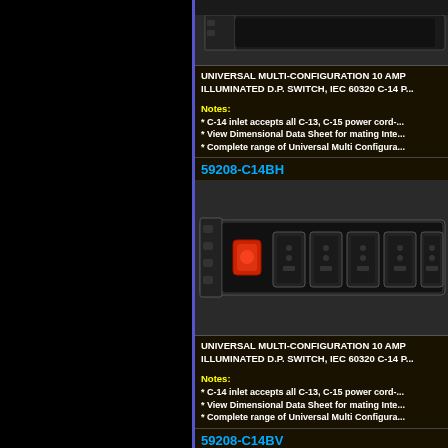[Figure (photo): Top portion of a rack-mount power strip unit (black), partially visible at top of page]
UNIVERSAL MULTI-CONFIGURATION 10 AMP ILLUMINATED D.P. SWITCH, IEC 60320 C-14 P...
Notes:
* C-14 inlet accepts all C-13, C-15 power cord-...
* View Dimensional Data Sheet for mating Inte...
* Complete range of Universal Multi Configura...
59208-C14BH
[Figure (photo): Rack-mount power distribution unit (PDU) with multiple universal multi-configuration outlets and red illuminated rocker switch, horizontal orientation, black color]
UNIVERSAL MULTI-CONFIGURATION 10 AMP ILLUMINATED D.P. SWITCH, IEC 60320 C-14 P...
Notes:
* C-14 inlet accepts all C-13, C-15 power cord-...
* View Dimensional Data Sheet for mating Inte...
* Complete range of Universal Multi Configura...
59208-C14BV